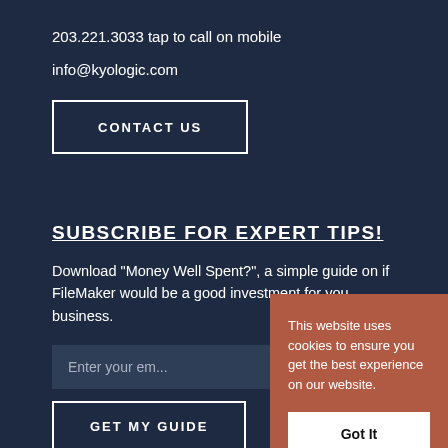203.221.3033 tap to call on mobile
info@kyologic.com
CONTACT US
SUBSCRIBE FOR EXPERT TIPS!
Download "Money Well Spent?", a simple guide on if FileMaker would be a good investment for you business.
Enter your em...
GET MY GUIDE
This website uses cookies to ensure you get the best experience on our website.
Got It